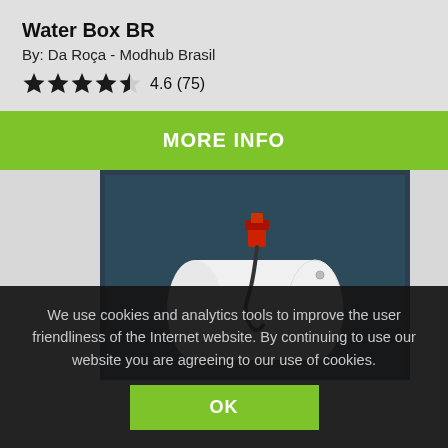Water Box BR
By: Da Roça - Modhub Brasil
4.6 (75)
MORE INFO
[Figure (photo): A white cylindrical water/fuel tank with a red pump mounted on top, hose drooping down, against a dark teal background.]
We use cookies and analytics tools to improve the user friendliness of the Internet website. By continuing to use our website you are agreeing to our use of cookies.
OK